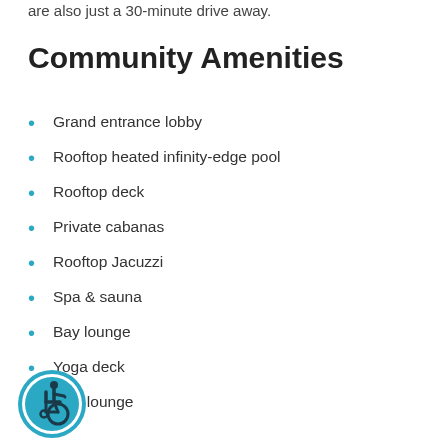are also just a 30-minute drive away.
Community Amenities
Grand entrance lobby
Rooftop heated infinity-edge pool
Rooftop deck
Private cabanas
Rooftop Jacuzzi
Spa & sauna
Bay lounge
Yoga deck
Sky lounge
[Figure (illustration): Accessibility icon — circular teal badge with wheelchair user symbol]